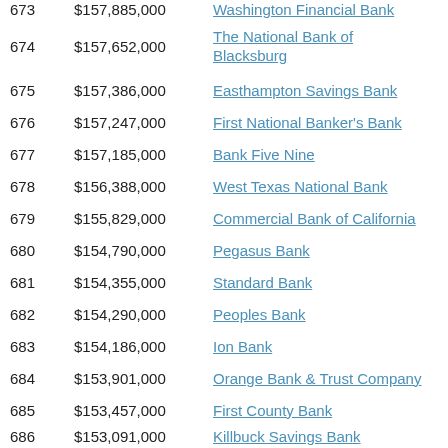| Rank | Assets | Bank Name |
| --- | --- | --- |
| 673 | $157,885,000 | Washington Financial Bank |
| 674 | $157,652,000 | The National Bank of Blacksburg |
| 675 | $157,386,000 | Easthampton Savings Bank |
| 676 | $157,247,000 | First National Banker's Bank |
| 677 | $157,185,000 | Bank Five Nine |
| 678 | $156,388,000 | West Texas National Bank |
| 679 | $155,829,000 | Commercial Bank of California |
| 680 | $154,790,000 | Pegasus Bank |
| 681 | $154,355,000 | Standard Bank |
| 682 | $154,290,000 | Peoples Bank |
| 683 | $154,186,000 | Ion Bank |
| 684 | $153,901,000 | Orange Bank & Trust Company |
| 685 | $153,457,000 | First County Bank |
| 686 | $153,091,000 | Killbuck Savings Bank |